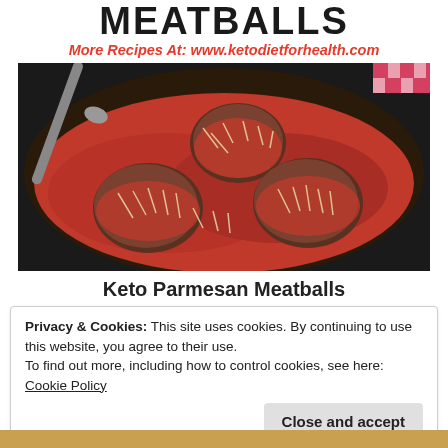MEATBALLS
More Recipes At: www.ketodietforhealth.com
[Figure (photo): Meatballs covered in tomato sauce and shredded parmesan cheese in a cast iron skillet, with a fork/spoon resting in the pan]
Keto Parmesan Meatballs
Privacy & Cookies: This site uses cookies. By continuing to use this website, you agree to their use.
To find out more, including how to control cookies, see here: Cookie Policy
Close and accept